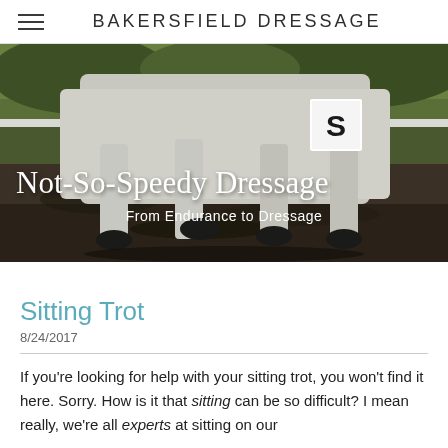BAKERSFIELD DRESSAGE
[Figure (photo): Close-up photo of a white horse's legs trotting in a dressage arena with mud/dirt surface, green grass background, white fence visible, number marker 'S' visible on the horse's competition number cloth. Overlaid text reads 'Not-So-Speedy Dressage' in cursive and 'From Endurance to Dressage' below it.]
Sitting Trot
8/24/2017
If you're looking for help with your sitting trot, you won't find it here. Sorry. How is it that sitting can be so difficult? I mean really, we're all experts at sitting on our